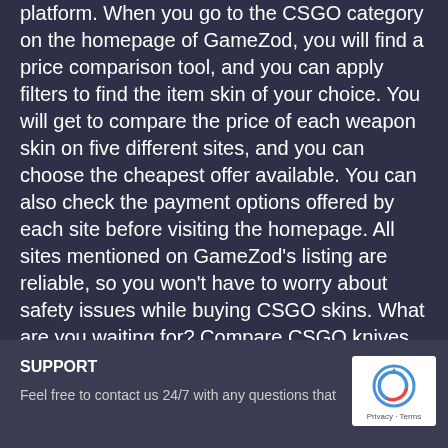platform. When you go to the CSGO category on the homepage of GameZod, you will find a price comparison tool, and you can apply filters to find the item skin of your choice. You will get to compare the price of each weapon skin on five different sites, and you can choose the cheapest offer available. You can also check the payment options offered by each site before visiting the homepage. All sites mentioned on GameZod's listing are reliable, so you won't have to worry about safety issues while buying CSGO skins. What are you waiting for? Compare CSGO knives prices and find cheapest offer available.
SUPPORT
Feel free to contact us 24/7 with any questions that